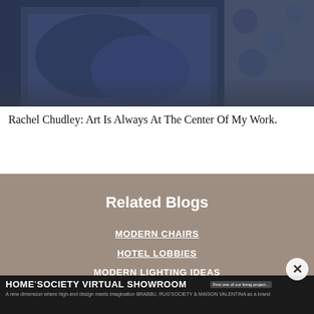[Figure (photo): Partial photo of a person wearing a dark navy knit sweater with a patterned fabric visible in the background]
Rachel Chudley: Art Is Always At The Center Of My Work.
Related Blogs
MODERN CHAIRS
HOTEL LOBBIES
MODERN LIGHTING IDEAS
HOME'SOCIETY VIRTUAL SHOWROOM
A new dimension where high-end design meets imagination BRABBU, RUG'SOCIETY & MAISON VALENTINA as a brand